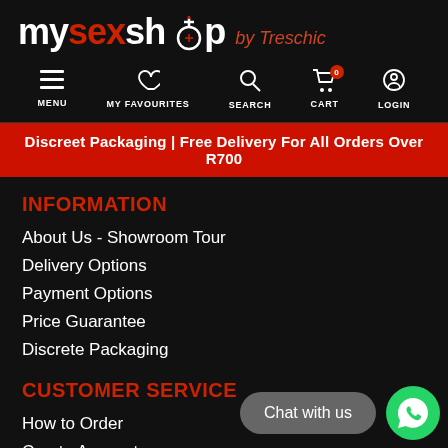[Figure (logo): mysexshop by Treschic logo with navigation bar (MENU, MY FAVOURITES, SEARCH, CART, LOGIN)]
Discreet Packaging | Free Delivery For All Orders Over R700
INFORMATION
About Us - Showroom Tour
Delivery Options
Payment Options
Price Guarantee
Discrete Packaging
CUSTOMER SERVICE
How to Order
Create Account
My Account
Edit Address
Terms & Conditions
[Figure (other): Chat with us button and WhatsApp green circular button]